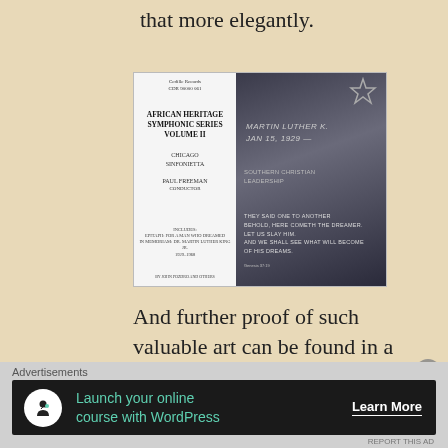that more elegantly.
[Figure (photo): Album cover for African Heritage Symphonic Series Volume II, Chicago Sinfonietta, Paul Freeman conductor. Left half is white with text; right half shows a dark photographic image of Martin Luther King Jr. with a star and a Genesis 37:19 quote: 'THEY SAID ONE TO ANOTHER BEHOLD, HERE COMETH THE DREAMER. LET US SLAY HIM. AND WE SHALL SEE WHAT WILL BECOME OF HIS DREAMS.']
And further proof of such valuable art can be found in a series of recordings on the Chicago-based label Cedille. In fact their
Advertisements
[Figure (infographic): Advertisement banner: 'Launch your online course with WordPress' with a Learn More button, on a dark background with a white icon of a person and plant.]